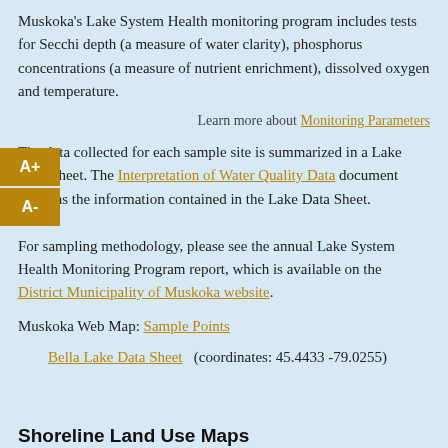Muskoka's Lake System Health monitoring program includes tests for Secchi depth (a measure of water clarity), phosphorus concentrations (a measure of nutrient enrichment), dissolved oxygen and temperature.
Learn more about Monitoring Parameters
The data collected for each sample site is summarized in a Lake Data Sheet. The Interpretation of Water Quality Data document explains the information contained in the Lake Data Sheet.
For sampling methodology, please see the annual Lake System Health Monitoring Program report, which is available on the District Municipality of Muskoka website.
Muskoka Web Map: Sample Points
Bella Lake Data Sheet   (coordinates: 45.4433 -79.0255)
Shoreline Land Use Maps
Shoreline Land Use Surveys collect data on shoreline vegetation, shoreline